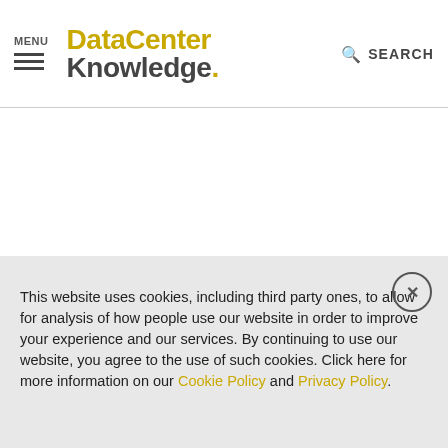MENU | DataCenter Knowledge. SEARCH
[Figure (other): White advertisement/banner area]
Telehouse Europe, the data center service provider subsidiary of the major Japanese telco KDDI, announced plans to build an 11-story data center in London. This will be the company's
This website uses cookies, including third party ones, to allow for analysis of how people use our website in order to improve your experience and our services. By continuing to use our website, you agree to the use of such cookies. Click here for more information on our Cookie Policy and Privacy Policy.